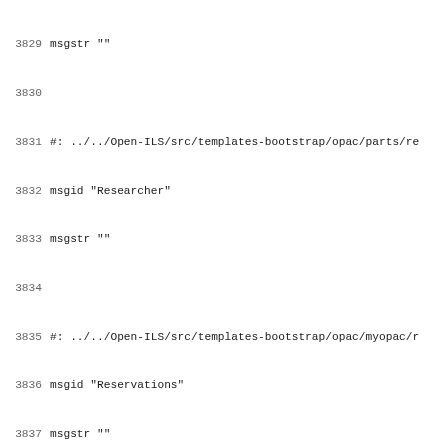Code listing showing gettext/PO file entries with line numbers 3829-3861, including msgid and msgstr entries for Researcher, Reservations, Reserved, Reset Password, Resource type, Respondent, Respondent-appellant, Respondent-appellee
3829 msgstr ""
3830
3831 #: ../../Open-ILS/src/templates-bootstrap/opac/parts/re
3832 msgid "Researcher"
3833 msgstr ""
3834
3835 #: ../../Open-ILS/src/templates-bootstrap/opac/myopac/r
3836 msgid "Reservations"
3837 msgstr ""
3838
3839 #: ../../Open-ILS/src/templates-bootstrap/opac/myopac/r
3840 msgid "Reserved"
3841 msgstr ""
3842
3843 #: ../../Open-ILS/src/templates-bootstrap/opac/password
3844 msgid "Reset Password"
3845 msgstr ""
3846
3847 #: ../../Open-ILS/src/templates-bootstrap/opac/myopac/r
3848 msgid "Resource type"
3849 msgstr ""
3850
3851 #: ../../Open-ILS/src/templates-bootstrap/opac/parts/re
3852 msgid "Respondent"
3853 msgstr ""
3854
3855 #: ../../Open-ILS/src/templates-bootstrap/opac/parts/re
3856 msgid "Respondent-appellant"
3857 msgstr ""
3858
3859 #: ../../Open-ILS/src/templates-bootstrap/opac/parts/re
3860 msgid "Respondent-appellee"
3861 msgstr ""